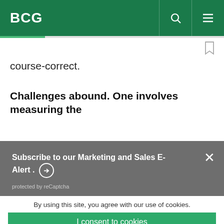BCG
course-correct.
Challenges abound. One involves measuring the
Subscribe to our Marketing and Sales E-Alert. protected by reCaptcha
By using this site, you agree with our use of cookies.
I consent to cookies
Want to know more?
Read our Cookie Policy